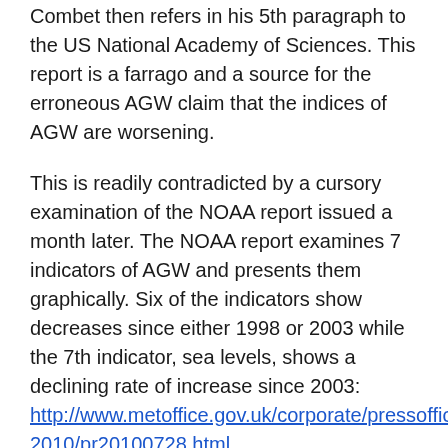Combet then refers in his 5th paragraph to the US National Academy of Sciences. This report is a farrago and a source for the erroneous AGW claim that the indices of AGW are worsening.
This is readily contradicted by a cursory examination of the NOAA report issued a month later. The NOAA report examines 7 indicators of AGW and presents them graphically. Six of the indicators show decreases since either 1998 or 2003 while the 7th indicator, sea levels, shows a declining rate of increase since 2003: http://www.metoffice.gov.uk/corporate/pressoffice/2010/pr20100728.html
Despite this spokespersons for Combet and indeed